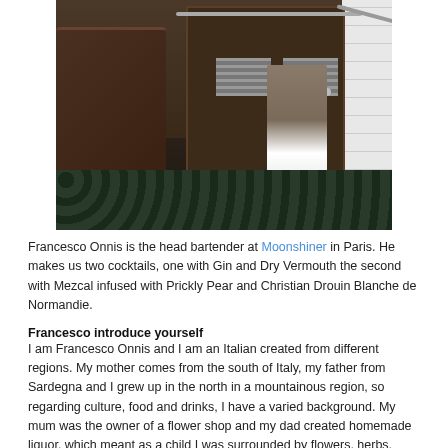[Figure (photo): Interior of a bar/restaurant showing a wooden door with metal ventilation grilles, a bentwood chair on the left, patterned tile floor, white subway tiles on the right wall, and a person's lower body (legs and white sneakers) visible near the door]
Francesco Onnis is the head bartender at Moonshiner in Paris. He makes us two cocktails, one with Gin and Dry Vermouth the second with Mezcal infused with Prickly Pear and Christian Drouin Blanche de Normandie.
Francesco introduce yourself
I am Francesco Onnis and I am an Italian created from different regions. My mother comes from the south of Italy, my father from Sardegna and I grew up in the north in a mountainous region, so regarding culture, food and drinks, I have a varied background. My mum was the owner of a flower shop and my dad created homemade liquor, which meant as a child I was surrounded by flowers, herbs, roots etc. My very first time behind a bar was when I was fourteen years old and